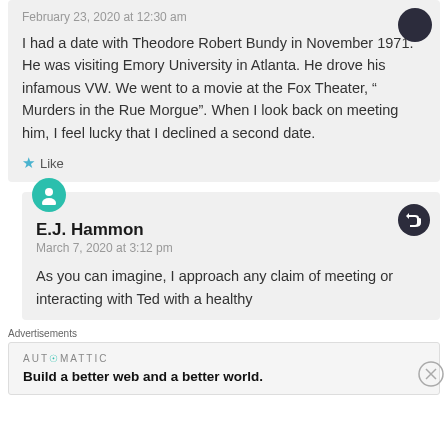February 23, 2020 at 12:30 am
I had a date with Theodore Robert Bundy in November 1971. He was visiting Emory University in Atlanta. He drove his infamous VW. We went to a movie at the Fox Theater, “ Murders in the Rue Morgue”. When I look back on meeting him, I feel lucky that I declined a second date.
Like
E.J. Hammon
March 7, 2020 at 3:12 pm
As you can imagine, I approach any claim of meeting or interacting with Ted with a healthy
Advertisements
AUTOMATTIC
Build a better web and a better world.